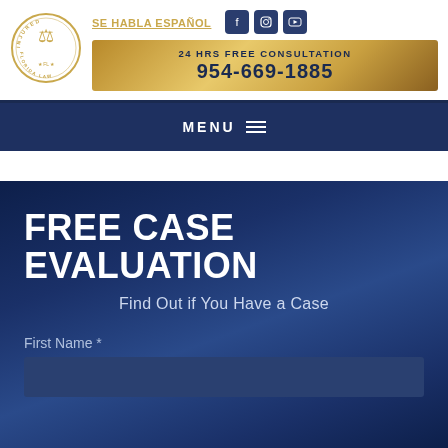[Figure (logo): Injured Florida Law circular logo with lady justice figure]
SE HABLA ESPAÑOL
[Figure (logo): Facebook, Instagram, and YouTube social media icons]
24 HRS FREE CONSULTATION
954-669-1885
MENU
FREE CASE EVALUATION
Find Out if You Have a Case
First Name *